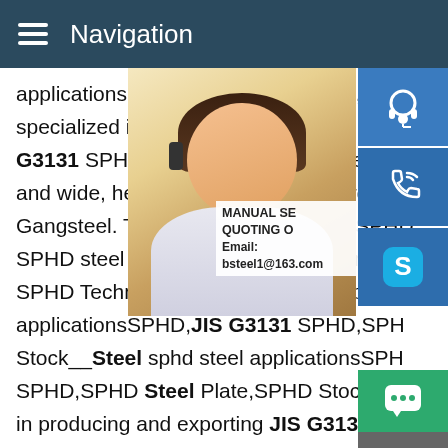Navigation
applicationsSPHD, JIS G3131 SPHD,SPH Stock . Gangsteelare specialized in producing JIS G3131 SPHD Low alloy and high strength and wide, heavy plate, Which is a large steel plate supplier mill at Gangsteel. Tags: SPHD, JIS G3131 SPHD, SPHD steel factory, SPHD adopt standard, SPHD Technical delivery condition sphd steel applicationsSPHD, JIS G3131 SPHD,SPH Stock__Steel sphd steel applicationsSPHD, SPHD,SPHD Steel Plate,SPHD Stock . Gangsteelare specialized in producing and exporting JIS G3131 SPHD Low alloy and high strength steel plate, heavy plate and wide, heavy plate, Which is a large steel plate supplier mill at Gangsteel. Tags: SPHD, JIS G3131 SPHD, SPHD Steel Plate, SPHD steel factory, SPHD standard, SPHD Heat treatment, SPHD Technical delivery
[Figure (photo): Customer service woman with headset smiling]
[Figure (infographic): Three blue icon buttons: headset/customer service, phone, Skype S logo. Contact box with MANUAL SE... QUOTING O... Email: bsteel1@163.com. Green chat bubble button and gray up arrow button.]